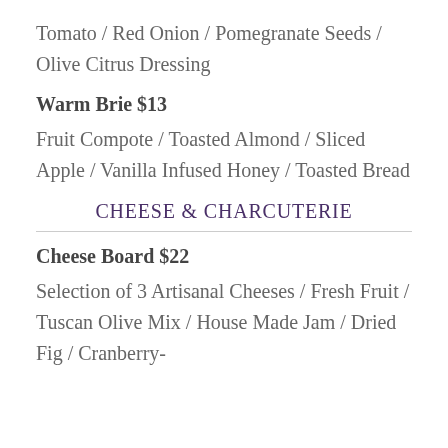Tomato / Red Onion / Pomegranate Seeds / Olive Citrus Dressing
Warm Brie $13
Fruit Compote / Toasted Almond / Sliced Apple / Vanilla Infused Honey / Toasted Bread
CHEESE & CHARCUTERIE
Cheese Board $22
Selection of 3 Artisanal Cheeses / Fresh Fruit / Tuscan Olive Mix / House Made Jam / Dried Fig / Cranberry-Rosemary Crackers